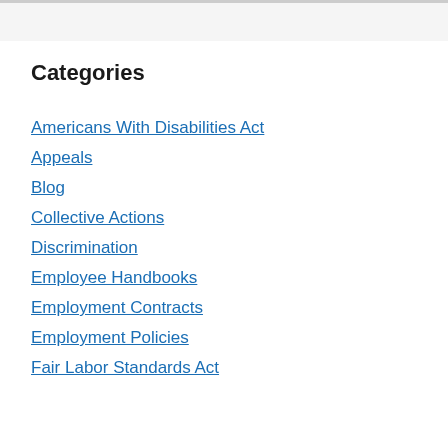Categories
Americans With Disabilities Act
Appeals
Blog
Collective Actions
Discrimination
Employee Handbooks
Employment Contracts
Employment Policies
Fair Labor Standards Act